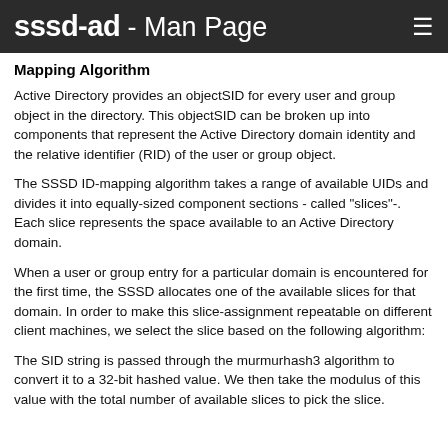sssd-ad - Man Page
Mapping Algorithm
Active Directory provides an objectSID for every user and group object in the directory. This objectSID can be broken up into components that represent the Active Directory domain identity and the relative identifier (RID) of the user or group object.
The SSSD ID-mapping algorithm takes a range of available UIDs and divides it into equally-sized component sections - called "slices"-. Each slice represents the space available to an Active Directory domain.
When a user or group entry for a particular domain is encountered for the first time, the SSSD allocates one of the available slices for that domain. In order to make this slice-assignment repeatable on different client machines, we select the slice based on the following algorithm:
The SID string is passed through the murmurhash3 algorithm to convert it to a 32-bit hashed value. We then take the modulus of this value with the total number of available slices to pick the slice.